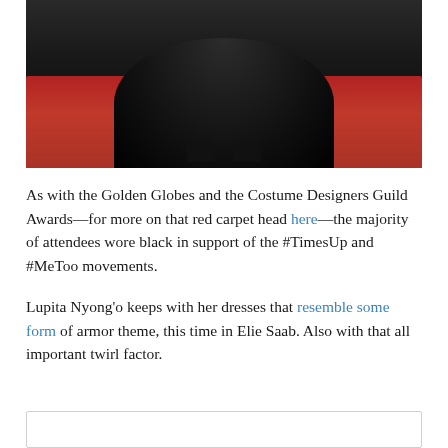[Figure (photo): Red carpet photo showing the lower portion of a black gown with ruffled hem and black platform shoes on a red carpet background.]
As with the Golden Globes and the Costume Designers Guild Awards—for more on that red carpet head here—the majority of attendees wore black in support of the #TimesUp and #MeToo movements.
Lupita Nyong'o keeps with her dresses that resemble some form of armor theme, this time in Elie Saab. Also with that all important twirl factor.